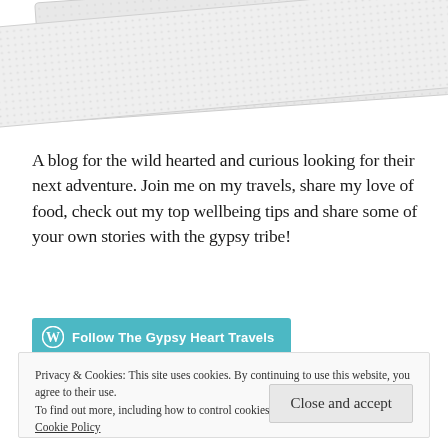[Figure (photo): Tilted/rotated light-colored textured card or paper image visible at the top of the page]
A blog for the wild hearted and curious looking for their next adventure. Join me on my travels, share my love of food, check out my top wellbeing tips and share some of your own stories with the gypsy tribe!
Follow The Gypsy Heart Travels
Privacy & Cookies: This site uses cookies. By continuing to use this website, you agree to their use.
To find out more, including how to control cookies, see here:
Cookie Policy
Close and accept